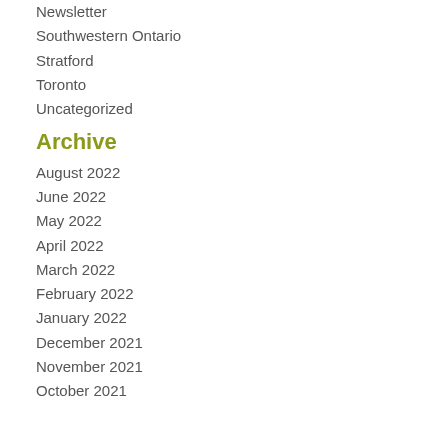Newsletter
Southwestern Ontario
Stratford
Toronto
Uncategorized
Archive
August 2022
June 2022
May 2022
April 2022
March 2022
February 2022
January 2022
December 2021
November 2021
October 2021